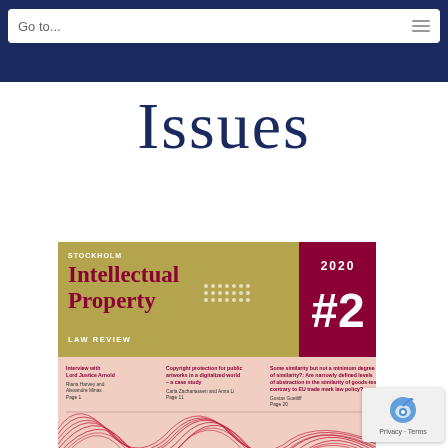Go to...
Issues
[Figure (illustration): Cover of Stockholm Intellectual Property Law Review, 2020 Issue #2. Gold/olive header with title in maroon, dark red box with 2020 #2, pink lower section listing articles by various authors, and abstract wave graphic at bottom.]